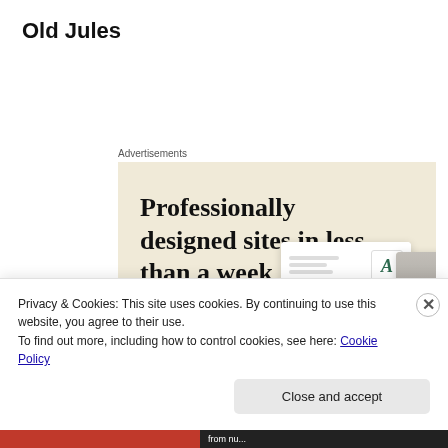Old Jules
Advertisements
[Figure (screenshot): Advertisement banner with beige background showing 'Professionally designed sites in less than a week' headline, a green 'Explore options' button, and mock website screenshots on the right.]
Privacy & Cookies: This site uses cookies. By continuing to use this website, you agree to their use.
To find out more, including how to control cookies, see here: Cookie Policy